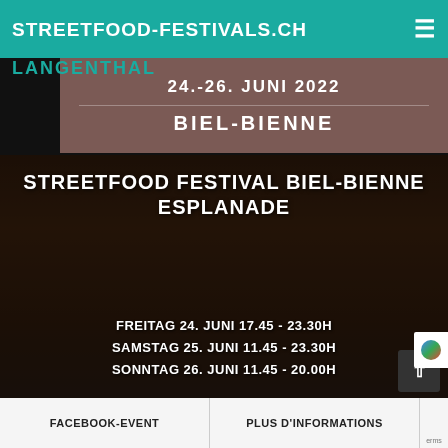STREETFOOD-FESTIVALS.CH
LANGENTHAL
24.-26. JUNI 2022
BIEL-BIENNE
[Figure (photo): Dark background photo of street food — close-up of food items, dimly lit with warm tones]
STREETFOOD FESTIVAL BIEL-BIENNE ESPLANADE
FREITAG 24. JUNI 17.45 – 23.30H
SAMSTAG 25. JUNI 11.45 – 23.30H
SONNTAG 26. JUNI 11.45 – 20.00H
FACEBOOK-EVENT
PLUS D'INFORMATIONS